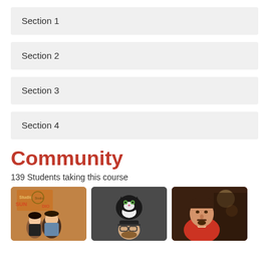Section 1
Section 2
Section 3
Section 4
Community
139 Students taking this course
[Figure (photo): Three student profile photos: a couple in front of a Sun Studio sign, a person posing with a black and white cat, and a man in a red shirt.]